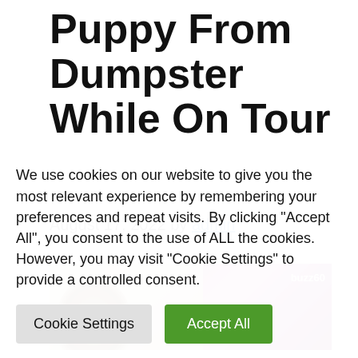Puppy From Dumpster While On Tour
August 17, 2022 by admin
[Figure (photo): Two side-by-side images: left shows a person from behind/side near a light background, right shows a pink/purple lit concert or performance scene with 'buzz60' watermark.]
We use cookies on our website to give you the most relevant experience by remembering your preferences and repeat visits. By clicking "Accept All", you consent to the use of ALL the cookies. However, you may visit "Cookie Settings" to provide a controlled consent.